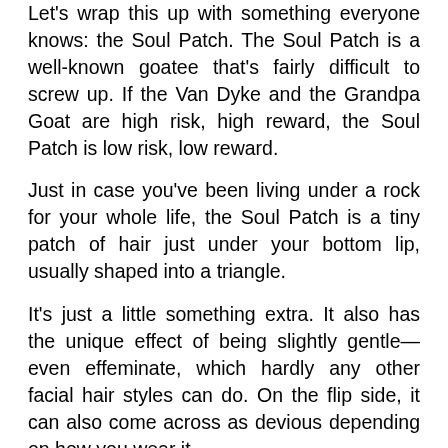Let's wrap this up with something everyone knows: the Soul Patch. The Soul Patch is a well-known goatee that's fairly difficult to screw up. If the Van Dyke and the Grandpa Goat are high risk, high reward, the Soul Patch is low risk, low reward.
Just in case you've been living under a rock for your whole life, the Soul Patch is a tiny patch of hair just under your bottom lip, usually shaped into a triangle.
It's just a little something extra. It also has the unique effect of being slightly gentle—even effeminate, which hardly any other facial hair styles can do. On the flip side, it can also come across as devious depending on how you wear it.
If you're looking for some good examples,
How to wear it: The Soul Patch pairs well with sharp, casual styles. Think sport coat, sharp jeans and a casual dress shirt. Even if you're going to wear it with something a little messier, it should still be well-put together. A really great example of a Soul Patch paired with a sharp-but-still-messy style is Tommy Lee.
The last thing you want with this goatee is to look like you were just too lazy to shave that last patch of hair, which, unfortunately, is the case with many patches I see.